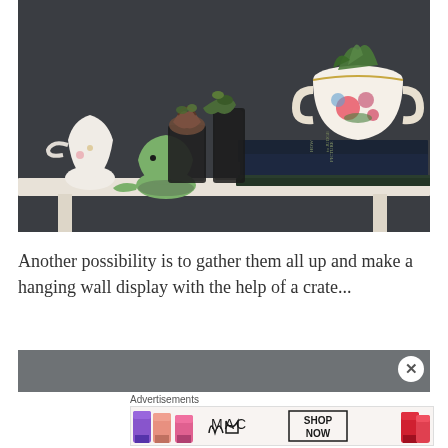[Figure (photo): A shelf display with succulents in dark glass containers, a floral white ceramic sugar bowl used as a planter, a green ceramic bird-shaped watering can, stacked dark navy and dark green books on a white shelf against a dark gray wall.]
Another possibility is to gather them all up and make a hanging wall display with the help of a crate...
[Figure (photo): Partial view of another photograph, gray background visible at top of advertisement area.]
Advertisements
[Figure (screenshot): MAC cosmetics advertisement showing colorful lipsticks (purple, peach, pink, red) with MAC logo text and SHOP NOW button in a box.]